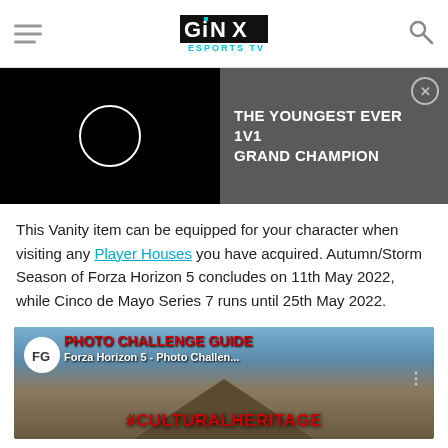GINX ESPORTS TV
[Figure (screenshot): Video promo banner with black video player on left showing white circle/play indicator, and dark grey panel on right with text 'THE YOUNGEST EVER 1v1 GRAND CHAMPION' and X close button]
This Vanity item can be equipped for your character when visiting any Player Houses you have acquired. Autumn/Storm Season of Forza Horizon 5 concludes on 11th May 2022, while Cinco de Mayo Series 7 runs until 25th May 2022.
[Figure (screenshot): YouTube video thumbnail for 'PHOTO CHALLENGE GUIDE Forza Horizon 5 - Photo Challen... #CULTURALHERITAGE' with FG logo icon on left]